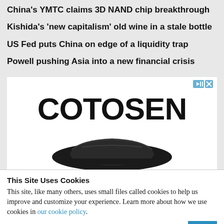China's YMTC claims 3D NAND chip breakthrough
Kishida's 'new capitalism' old wine in a stale bottle
US Fed puts China on edge of a liquidity trap
Powell pushing Asia into a new financial crisis
[Figure (other): Advertisement banner for COTOSEN brand showing the brand name in large bold text and a partial image of a black product at the bottom]
This Site Uses Cookies
This site, like many others, uses small files called cookies to help us improve and customize your experience. Learn more about how we use cookies in our cookie policy.
Learn more about cookies  OK